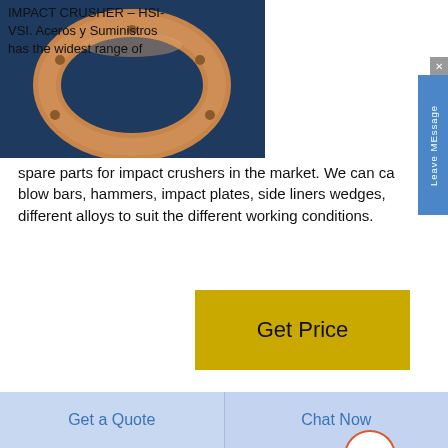[Figure (photo): Bronze/copper-colored ring-shaped crusher part on dark blue background]
IMPACT CRUSHER – HSI-VSI. Aceros y Suministros has the widest range of spare parts for impact crushers in the market. We can cast blow bars, hammers, impact plates, side liners wedges, different alloys to suit the different working conditions.
[Figure (other): Get Price button in gold/yellow color]
[Figure (photo): Orange/copper curved crusher liner part on dark blue background]
China Hydraulic Cone Crusher with Competitive Price